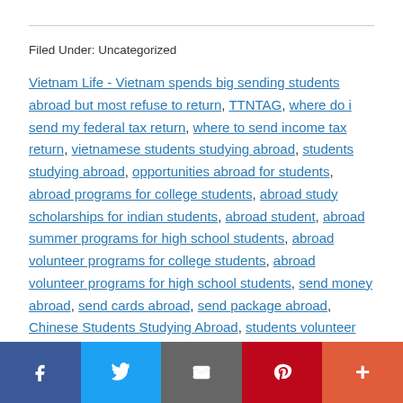Filed Under: Uncategorized
Vietnam Life - Vietnam spends big sending students abroad but most refuse to return, TTNTAG, where do i send my federal tax return, where to send income tax return, vietnamese students studying abroad, students studying abroad, opportunities abroad for students, abroad programs for college students, abroad study scholarships for indian students, abroad student, abroad summer programs for high school students, abroad volunteer programs for college students, abroad volunteer programs for high school students, send money abroad, send cards abroad, send package abroad, Chinese Students Studying Abroad, students volunteer abroad, students volunteering abroad for free, which
f  [twitter]  [email]  p  +